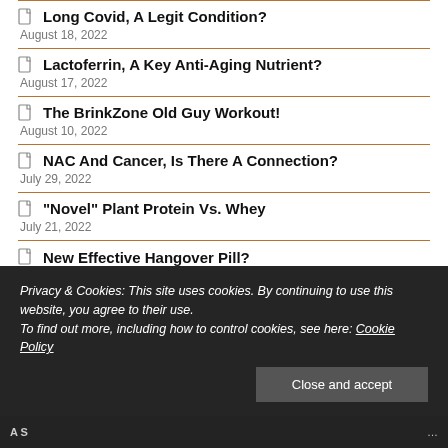Long Covid, A Legit Condition? — August 18, 2022
Lactoferrin, A Key Anti-Aging Nutrient? — August 17, 2022
The BrinkZone Old Guy Workout! — August 10, 2022
NAC And Cancer, Is There A Connection? — July 29, 2022
"Novel" Plant Protein Vs. Whey — July 21, 2022
New Effective Hangover Pill?
Privacy & Cookies: This site uses cookies. By continuing to use this website, you agree to their use. To find out more, including how to control cookies, see here: Cookie Policy
Close and accept
Recent Comments
A S